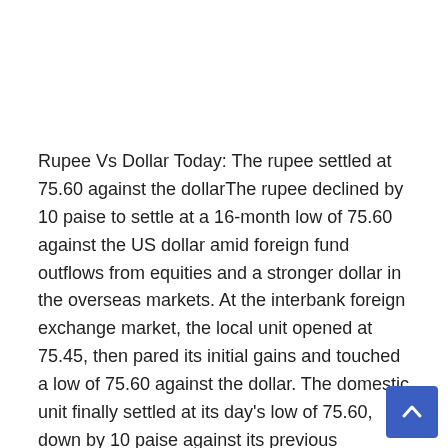Rupee Vs Dollar Today: The rupee settled at 75.60 against the dollarThe rupee declined by 10 paise to settle at a 16-month low of 75.60 against the US dollar amid foreign fund outflows from equities and a stronger dollar in the overseas markets. At the interbank foreign exchange market, the local unit opened at 75.45, then pared its initial gains and touched a low of 75.60 against the dollar. The domestic unit finally settled at its day's low of 75.60, down by 10 paise against its previous close.Previously, the local unit closed at this